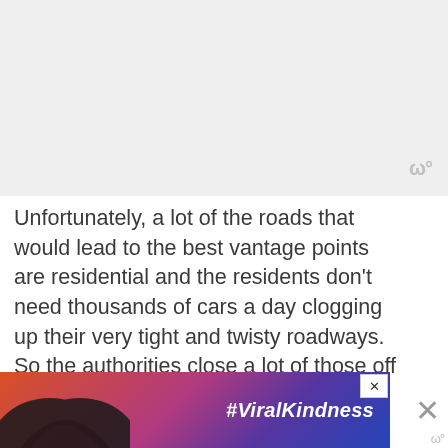[Figure (photo): Light gray placeholder image area occupying top portion of page]
Unfortunately, a lot of the roads that would lead to the best vantage points are residential and the residents don't need thousands of cars a day clogging up their very tight and twisty roadways. So the authorities close a lot of those off to give the homeowners some rest bite. But you can still get quite close by car and get
[Figure (photo): Advertisement banner with dark silhouette of hands making a heart shape against a colorful sunset background, with hashtag #ViralKindness text]